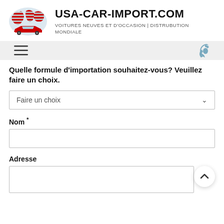[Figure (logo): USA-CAR-IMPORT.COM logo with stylized US flag world map graphic in red, white and blue]
USA-CAR-IMPORT.COM
VOITURES NEUVES ET D'OCCASION | DISTRUBUTION MONDIALE
[Figure (infographic): Navigation bar with hamburger menu icon on left and phone icon on right]
Quelle formule d'importation souhaitez-vous? Veuillez faire un choix.
Faire un choix
Nom *
Adresse